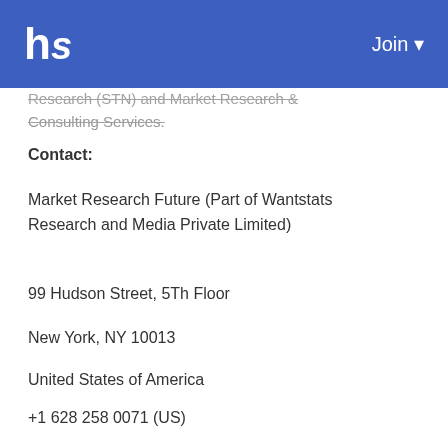hs  Join
Research (STN) and Market Research & Consulting Services.
Contact:
Market Research Future (Part of Wantstats Research and Media Private Limited)
99 Hudson Street, 5Th Floor
New York, NY 10013
United States of America
+1 628 258 0071 (US)
+44 2035 002 764 (UK)
Email: sales@marketresearchfuture.com